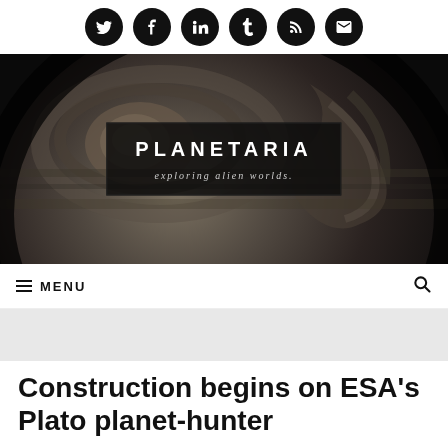Social sharing icons: Twitter, Facebook, LinkedIn, Tumblr, RSS, Email
[Figure (photo): Hero image of Jupiter's surface texture in black and white with the Planetaria logo overlay. Logo text: PLANETARIA, exploring alien worlds.]
≡ MENU
Construction begins on ESA's Plato planet-hunter
OCTOBER 15, 2018 BY PAUL SCOTT ANDERSON